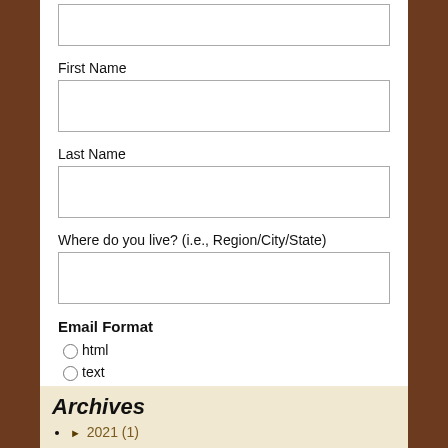First Name
Last Name
Where do you live? (i.e., Region/City/State)
Email Format
html
text
Subscribe
Archives
2021 (1)